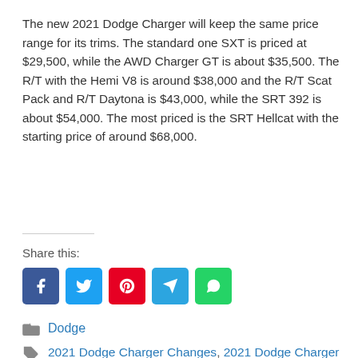The new 2021 Dodge Charger will keep the same price range for its trims. The standard one SXT is priced at $29,500, while the AWD Charger GT is about $35,500. The R/T with the Hemi V8 is around $38,000 and the R/T Scat Pack and R/T Daytona is $43,000, while the SRT 392 is about $54,000. The most priced is the SRT Hellcat with the starting price of around $68,000.
Share this:
[Figure (infographic): Social media share buttons: Facebook (blue), Twitter (light blue), Pinterest (red), Telegram (blue), WhatsApp (green)]
Dodge
2021 Dodge Charger Changes, 2021 Dodge Charger Engine, 2021 Dodge Charger Exterior,